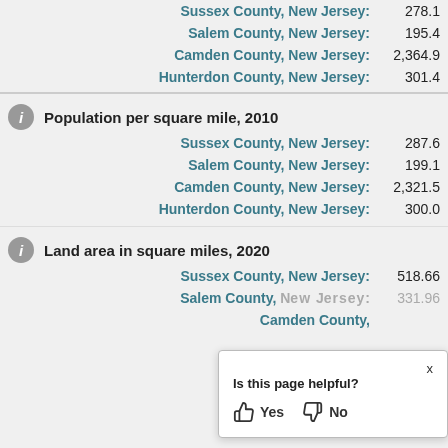Sussex County, New Jersey: 278.1
Salem County, New Jersey: 195.4
Camden County, New Jersey: 2,364.9
Hunterdon County, New Jersey: 301.4
Population per square mile, 2010
Sussex County, New Jersey: 287.6
Salem County, New Jersey: 199.1
Camden County, New Jersey: 2,321.5
Hunterdon County, New Jersey: 300.0
Land area in square miles, 2020
Sussex County, New Jersey: 518.66
Salem County, New Jersey: 331.96
Camden County, New Jersey: ...